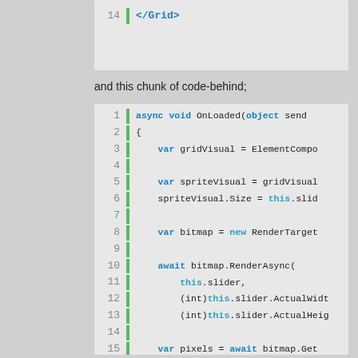[Figure (screenshot): Code block showing line 14 with '</Grid>' XML closing tag in a code editor with line numbers and green vertical bar]
and this chunk of code-behind;
[Figure (screenshot): Code block showing C# async method OnLoaded with lines 1-23, featuring syntax highlighting with blue/cyan keywords, line numbers, and green vertical bar]